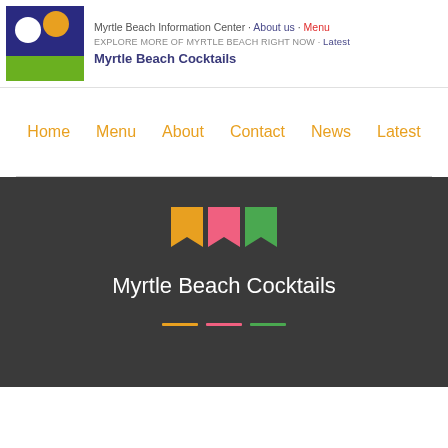Myrtle Beach Information Center · About us · Menu
EXPLORE MORE OF MYRTLE BEACH RIGHT NOW · Latest
Myrtle Beach Cocktails
Home  Menu  About  Contact  News  Latest
Myrtle Beach Cocktails